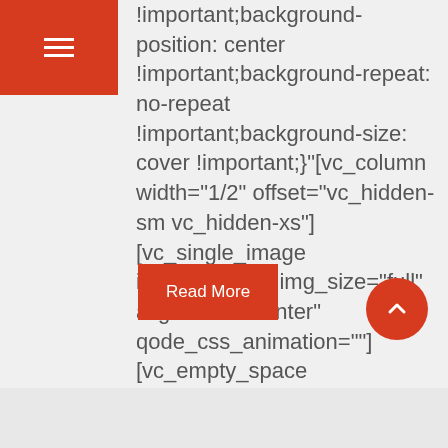[Figure (other): Red navigation bar with hamburger menu icon (three white horizontal lines)]
!important;background-position: center !important;background-repeat: no-repeat !important;background-size: cover !important;}"][vc_column width="1/2" offset="vc_hidden-sm vc_hidden-xs"][vc_single_image image="5917" img_size="full" alignment="center" qode_css_animation=""] [vc_empty_space height="15px"] [vc_column_text] Learning...
Read More
[Figure (other): Orange circular back-to-top button with upward chevron arrow]